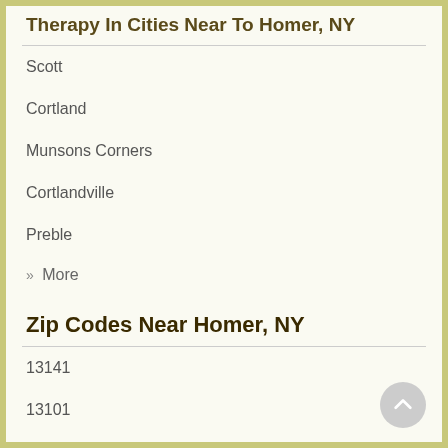Therapy In Cities Near To Homer, NY
Scott
Cortland
Munsons Corners
Cortlandville
Preble
» More
Zip Codes Near Homer, NY
13141
13101